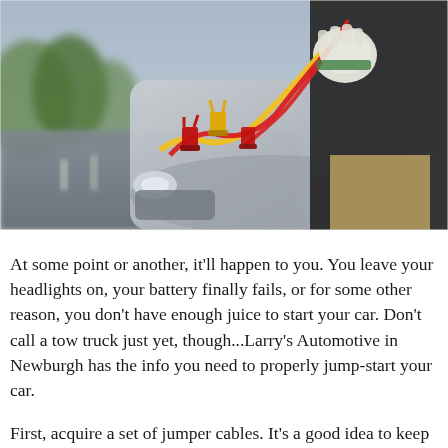[Figure (photo): A person wearing a white glove and black shirt holding yellow and red jumper cables with clamps in front of a grey car, with a road and green trees blurred in the background.]
At some point or another, it'll happen to you. You leave your headlights on, your battery finally fails, or for some other reason, you don't have enough juice to start your car. Don't call a tow truck just yet, though...Larry's Automotive in Newburgh has the info you need to properly jump-start your car.
First, acquire a set of jumper cables. It's a good idea to keep a good quality set in your vehicle, but if it's too late for that, ask a friendly passerby if they have a set.